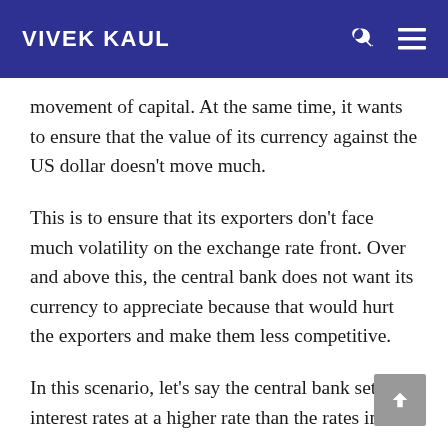VIVEK KAUL
movement of capital. At the same time, it wants to ensure that the value of its currency against the US dollar doesn't move much.
This is to ensure that its exporters don't face much volatility on the exchange rate front. Over and above this, the central bank does not want its currency to appreciate because that would hurt the exporters and make them less competitive.
In this scenario, let's say the central bank sets interest rates at a higher rate than the rates in